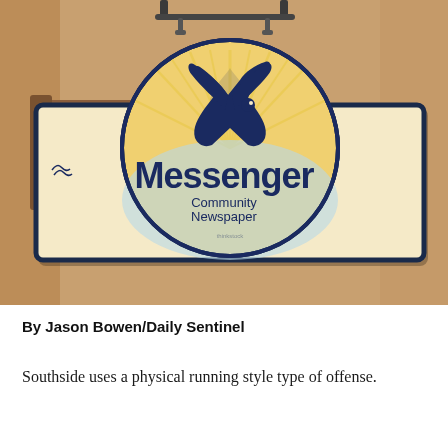[Figure (photo): Photograph of a hanging outdoor sign for 'Messenger Community Newspaper' featuring a stylized dove/swallow logo on a cream and gold oval background with sunray design, mounted on a wooden bracket against a building exterior.]
By Jason Bowen/Daily Sentinel
Southside uses a physical running style type of offense.